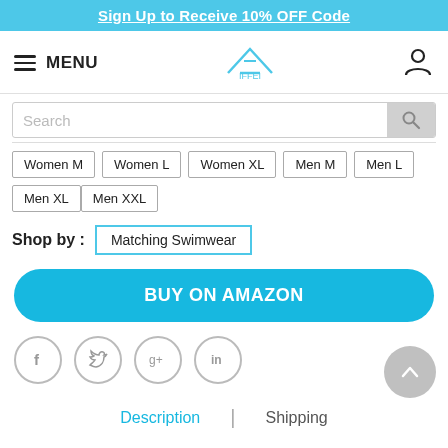Sign Up to Receive 10% OFF Code
MENU
IFFEI (logo)
Search
Women M
Women L
Women XL
Men M
Men L
Men XL
Men XXL
Shop by : Matching Swimwear
BUY ON AMAZON
[Figure (other): Social share icons: Facebook, Twitter, Google+, LinkedIn]
Description | Shipping